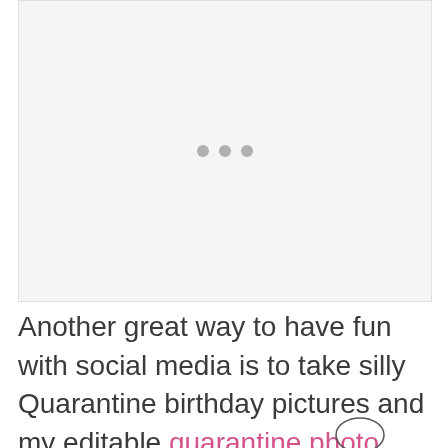[Figure (other): Loading placeholder image with light gray background and three gray dots in the center]
Another great way to have fun with social media is to take silly Quarantine birthday pictures and my editable quarantine photo booth sets are perfect for that.